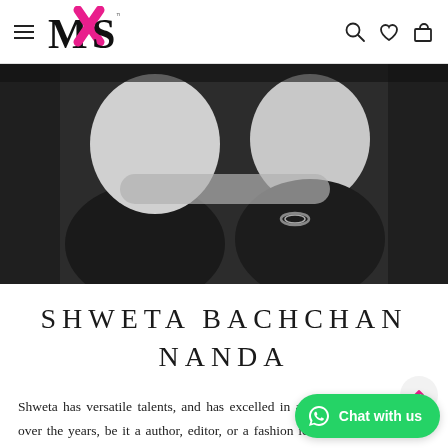MXS navigation header with hamburger menu, MXS logo, search, wishlist, and cart icons
[Figure (photo): Black and white photo of two women sitting close together wearing white t-shirts and jeans, one showing a bracelet]
SHWETA BACHCHAN NANDA
Shweta has versatile talents, and has excelled in all roles she has chosen over the years, be it a author, editor, or a fashion icon. With MXS, she is setting